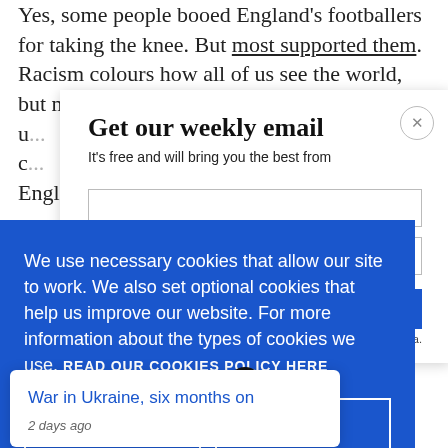Yes, some people booed England's footballers for taking the knee. But most supported them. Racism colours how all of us see the world, but most of u... working-c... English...
Get our weekly email
It's free and will bring you the best from
We use necessary cookies that allow our site to work. We also set optional cookies that help us improve our website. For more information about the types of cookies we use. READ OUR COOKIES POLICY HERE
COOKIE
ALLOW
War in Ukraine, six months on
2 days ago
data.
S